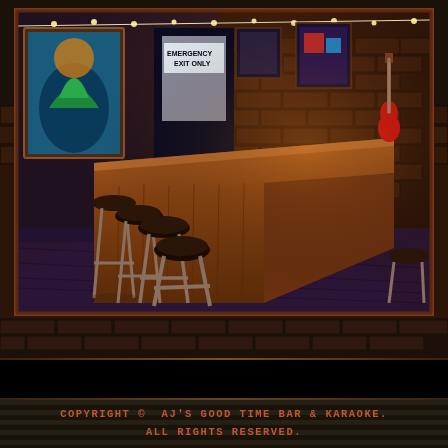[Figure (photo): Interior of a bar/karaoke venue showing a wooden bar counter with bar stools, brick walls decorated with artwork, neon signs, and string lights. The floor is dark hardwood. A red guitar is visible on the back wall.]
421 BROADWAY • NASHVILLE, TN • 37203
COPYRIGHT © AJ'S GOOD TIME BAR & KARAOKE. ALL RIGHTS RESERVED.